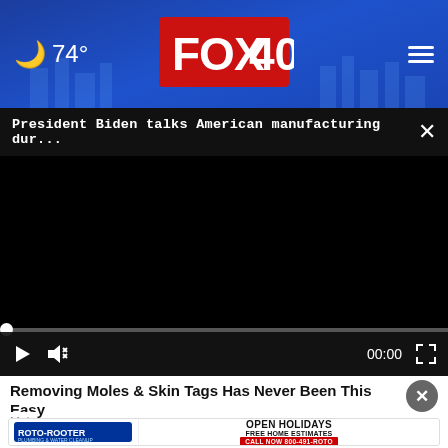🌙 74° FOX 40 ☰
President Biden talks American manufacturing dur... ×
[Figure (screenshot): Black video player area with progress bar at 0, play button, mute button, time 00:00, and fullscreen button]
Removing Moles & Skin Tags Has Never Been This Easy
Mole
[Figure (infographic): Roto-Rooter advertisement banner: OPEN HOLIDAYS, FREE HOME ESTIMATES, CALL NOW 800-491-ROTO with snowflake decorations]